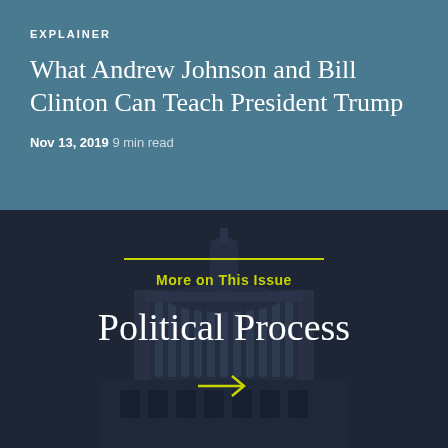EXPLAINER
What Andrew Johnson and Bill Clinton Can Teach President Trump
Nov 13, 2019 9 min read
[Figure (illustration): Dark background image of the US Capitol building dome at dusk/night with overlaid text elements including a yellow horizontal rule, 'More on This Issue' label in yellow-green, 'Political Process' in large white serif text, and a yellow-green arrow pointing right.]
More on This Issue
Political Process